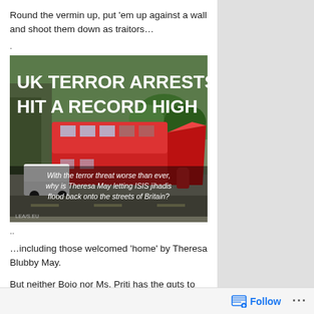Round the vermin up, put ‘em up against a wall and shoot them down as traitors…
.
[Figure (photo): News article image with headline 'UK TERROR ARRESTS HIT A RECORD HIGH' overlaid on a photo of a damaged double-decker bus on a London street. Sub-headline reads: 'With the terror threat worse than ever, why is Theresa May letting ISIS jihadis flood back onto the streets of Britain?' Logo 'LEA/S.EU' in bottom left.]
..
…including those welcomed ‘home’ by Theresa Blubby May.
But neither Bojo nor Ms. Priti has the guts to defy the ECHR and do what’s right.